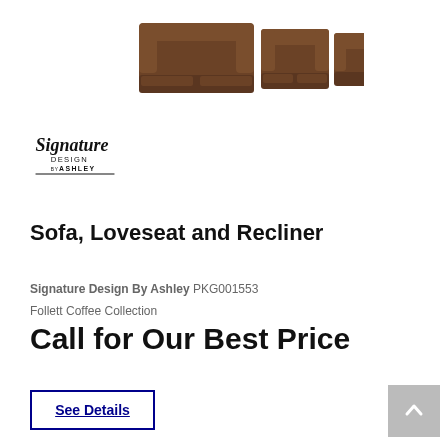[Figure (photo): Three-piece reclining sofa set (sofa, loveseat, and recliner) in brown/espresso upholstery, shown from a front-angled view on a white background.]
[Figure (logo): Signature Design by Ashley cursive logo in black]
Sofa, Loveseat and Recliner
Signature Design By Ashley PKG001553
Follett Coffee Collection
Call for Our Best Price
See Details